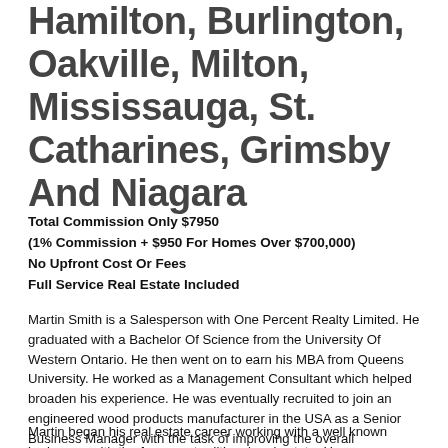Hamilton, Burlington, Oakville, Milton, Mississauga, St. Catharines, Grimsby And Niagara
Total Commission Only $7950
(1% Commission + $950 For Homes Over $700,000)
No Upfront Cost Or Fees
Full Service Real Estate Included
Martin Smith is a Salesperson with One Percent Realty Limited. He graduated with a Bachelor Of Science from the University Of Western Ontario. He then went on to earn his MBA from Queens University. He worked as a Management Consultant which helped broaden his experience. He was eventually recruited to join an engineered wood products manufacturer in the USA as a Senior Business Manager with the task of improving the overall productivity of the operation. His goal was to eventually return home to Ontario where he wanted to pursue a career in real estate.
Martin began his real estate career working with a well known brokerage with the focus on traditional real estate. He was an